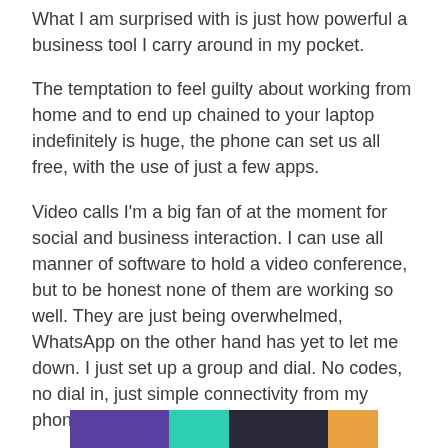What I am surprised with is just how powerful a business tool I carry around in my pocket.
The temptation to feel guilty about working from home and to end up chained to your laptop indefinitely is huge, the phone can set us all free, with the use of just a few apps.
Video calls I'm a big fan of at the moment for social and business interaction. I can use all manner of software to hold a video conference, but to be honest none of them are working so well. They are just being overwhelmed, WhatsApp on the other hand has yet to let me down. I just set up a group and dial. No codes, no dial in, just simple connectivity from my phone.
Advertisements
[Figure (photo): Colorful advertisement banner with purple, teal, dark, and orange color sections]